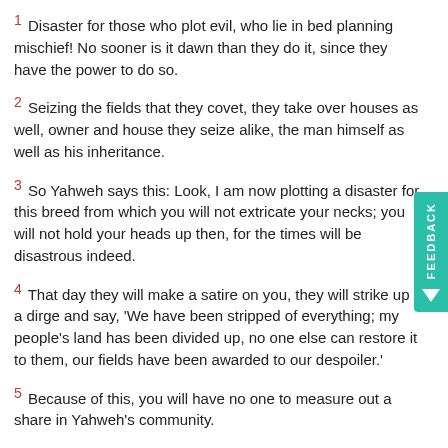1 Disaster for those who plot evil, who lie in bed planning mischief! No sooner is it dawn than they do it, since they have the power to do so.
2 Seizing the fields that they covet, they take over houses as well, owner and house they seize alike, the man himself as well as his inheritance.
3 So Yahweh says this: Look, I am now plotting a disaster for this breed from which you will not extricate your necks; you will not hold your heads up then, for the times will be disastrous indeed.
4 That day they will make a satire on you, they will strike up a dirge and say, 'We have been stripped of everything; my people's land has been divided up, no one else can restore it to them, our fields have been awarded to our despoiler.'
5 Because of this, you will have no one to measure out a share in Yahweh's community.
6 'Do not drivel,' they drivel, 'do not drivel like this! Disgrace will not overtake us!
7 'Can the House of Jacob be accursed? Has Yahweh grown short-tempered? Is that his way of going to work? His prophecies can only be favourable for his